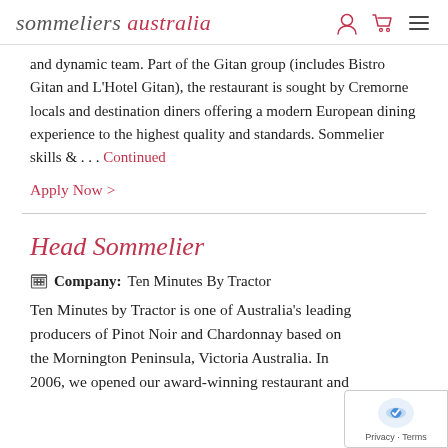sommeliers australia
and dynamic team.  Part of the Gitan group (includes Bistro Gitan and L'Hotel Gitan), the restaurant is sought by Cremorne locals and destination diners offering a modern European dining experience to the highest quality and standards.  Sommelier skills & … Continued
Apply Now >
Head Sommelier
Company: Ten Minutes By Tractor
Ten Minutes by Tractor is one of Australia's leading producers of Pinot Noir and Chardonnay based on the Mornington Peninsula, Victoria Australia. In 2006, we opened our award-winning restaurant and